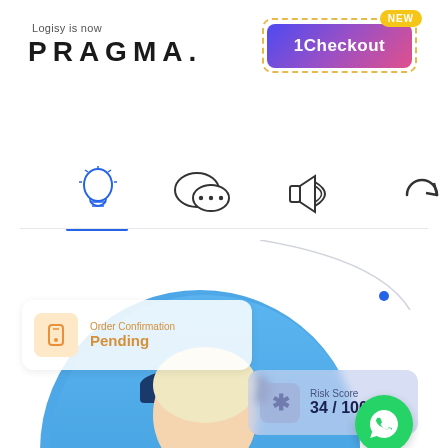[Figure (screenshot): Pragma branding page with logo, navigation icons, 1Checkout button with NEW badge, delivery person photo, Order Confirmation Pending card, Risk Score card, and WhatsApp icon]
Logisy is now
PRAGMA.
[Figure (infographic): 1Checkout button with gradient purple-blue background and NEW yellow badge in top right]
[Figure (illustration): Four navigation icons: lightbulb, speech bubble with dots, megaphone, refresh/sync arrows. Blue underline under lightbulb icon.]
[Figure (photo): Delivery woman in blue uniform and cap looking at tablet/clipboard, on blue circular background]
Order Confirmation
Pending
Risk Score
34 / 100
[Figure (illustration): WhatsApp icon in green circle]